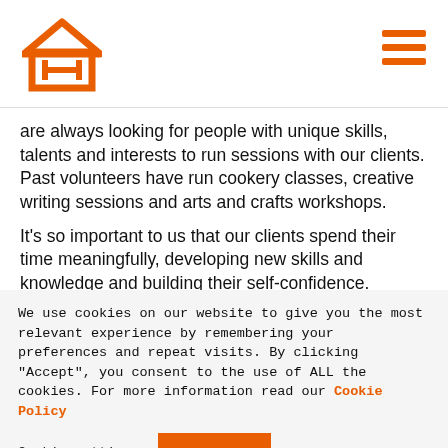H8H logo and navigation menu icon
are always looking for people with unique skills, talents and interests to run sessions with our clients. Past volunteers have run cookery classes, creative writing sessions and arts and crafts workshops.
It's so important to us that our clients spend their time meaningfully, developing new skills and knowledge and building their self-confidence.
We use cookies on our website to give you the most relevant experience by remembering your preferences and repeat visits. By clicking “Accept”, you consent to the use of ALL the cookies. For more information read our Cookie Policy
Cookie settings  ACCEPT